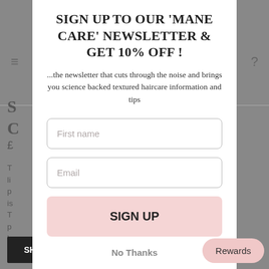SIGN UP TO OUR 'MANE CARE' NEWSLETTER & GET 10% OFF !
...the newsletter that cuts through the noise and brings you science backed textured haircare information and tips
[Figure (other): Newsletter signup modal overlay with First name input field, Email input field, SIGN UP button (pink), No Thanks text link, and Rewards button. Background shows partially visible e-commerce product page.]